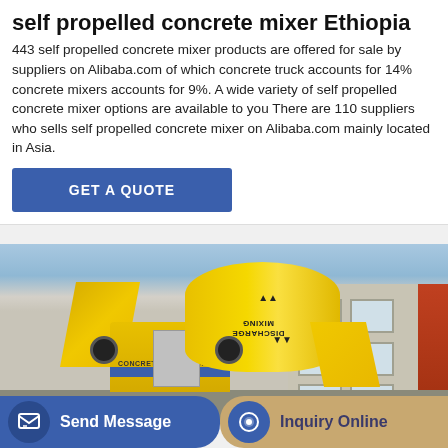self propelled concrete mixer Ethiopia
443 self propelled concrete mixer products are offered for sale by suppliers on Alibaba.com of which concrete truck accounts for 14% concrete mixers accounts for 9%. A wide variety of self propelled concrete mixer options are available to you There are 110 suppliers who sells self propelled concrete mixer on Alibaba.com mainly located in Asia.
GET A QUOTE
[Figure (photo): Yellow self-propelled concrete mixer pump machine (CONCRETE MIXER PUMP) parked outdoors in front of a building, with a large yellow rotating drum, hopper, radiator unit, and discharge markings on the drum.]
Send Message
Inquiry Online